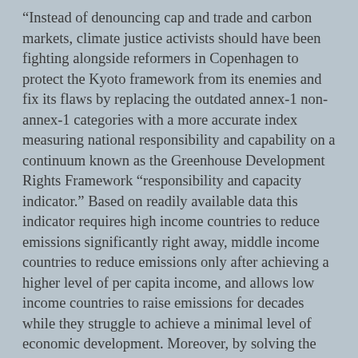“Instead of denouncing cap and trade and carbon markets, climate justice activists should have been fighting alongside reformers in Copenhagen to protect the Kyoto framework from its enemies and fix its flaws by replacing the outdated annex-1 non-annex-1 categories with a more accurate index measuring national responsibility and capability on a continuum known as the Greenhouse Development Rights Framework “responsibility and capacity indicator.” Based on readily available data this indicator requires high income countries to reduce emissions significantly right away, middle income countries to reduce emissions only after achieving a higher level of per capita income, and allows low income countries to raise emissions for decades while they struggle to achieve a minimal level of economic development. Moreover, by solving the problem of how to cap emissions in all countries fairly the GDRF indicator makes it possible to leave the difficult job of awarding emission reduction credits to national governments — freeing the international treaty organization to concentrate on the far easier job of measuring actual national annual emissions — and it protects the global emission cap from